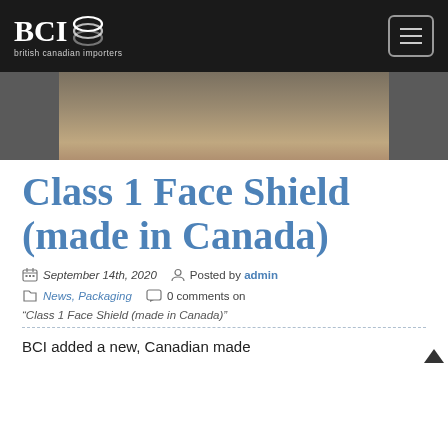BCI british canadian importers
[Figure (photo): Partial cropped photo showing people at a table, a glass of beer visible]
Class 1 Face Shield (made in Canada)
September 14th, 2020  Posted by admin
News, Packaging  0 comments on
“Class 1 Face Shield (made in Canada)”
BCI added a new, Canadian made